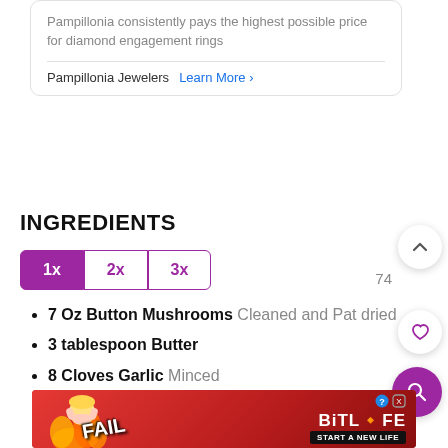Pampillonia consistently pays the highest possible price for diamond engagement rings
Pampillonia Jewelers  Learn More >
INGREDIENTS
1x  2x  3x
7 Oz Button Mushrooms Cleaned and Pat dried
3 tablespoon Butter
8 Cloves Garlic Minced
2 large Onions chopped
[Figure (screenshot): BitLife mobile advertisement banner with FAIL text and character illustration]